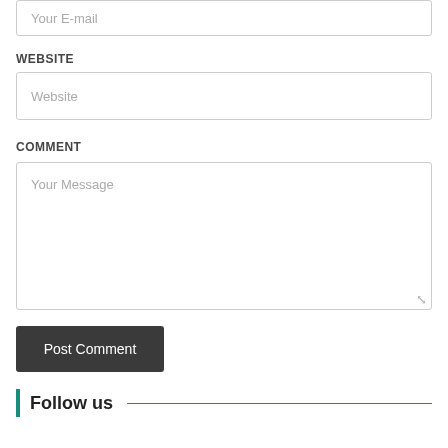Your E-mail
WEBSITE
Website
COMMENT
Your Message
Post Comment
Follow us